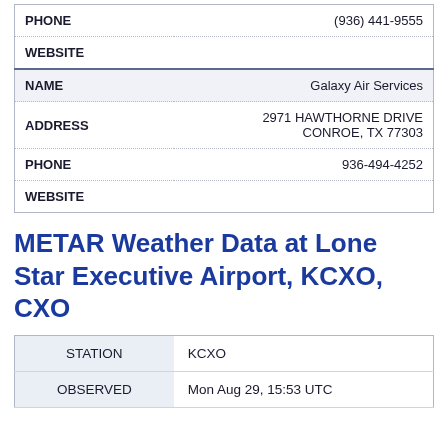| Field | Value |
| --- | --- |
| PHONE | (936) 441-9555 |
| WEBSITE |  |
| NAME | Galaxy Air Services |
| ADDRESS | 2971 HAWTHORNE DRIVE
CONROE, TX 77303 |
| PHONE | 936-494-4252 |
| WEBSITE |  |
METAR Weather Data at Lone Star Executive Airport, KCXO, CXO
| Field | Value |
| --- | --- |
| STATION | KCXO |
| OBSERVED | Mon Aug 29, 15:53 UTC |